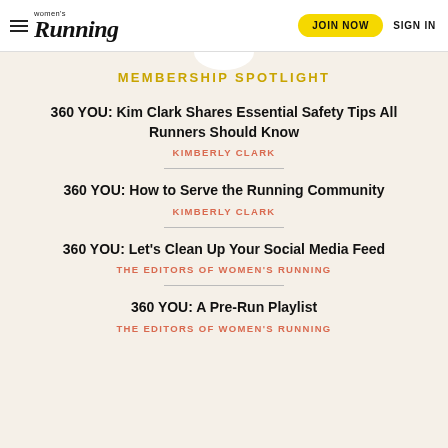Women's Running | JOIN NOW | SIGN IN
MEMBERSHIP SPOTLIGHT
360 YOU: Kim Clark Shares Essential Safety Tips All Runners Should Know
KIMBERLY CLARK
360 YOU: How to Serve the Running Community
KIMBERLY CLARK
360 YOU: Let's Clean Up Your Social Media Feed
THE EDITORS OF WOMEN'S RUNNING
360 YOU: A Pre-Run Playlist
THE EDITORS OF WOMEN'S RUNNING